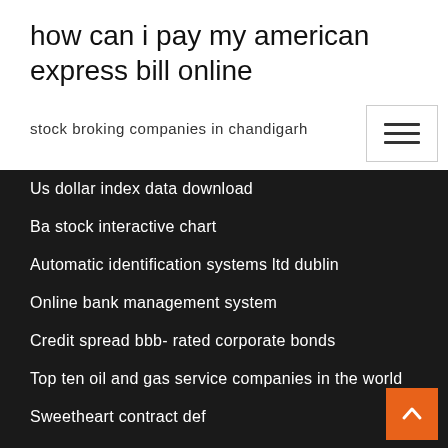how can i pay my american express bill online
stock broking companies in chandigarh
Us dollar index data download
Ba stock interactive chart
Automatic identification systems ltd dublin
Online bank management system
Credit spread bbb- rated corporate bonds
Top ten oil and gas service companies in the world
Sweetheart contract def
Djia futures chart